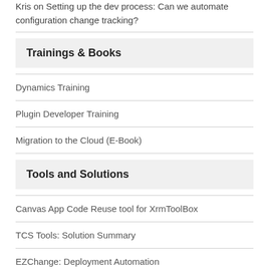Kris on Setting up the dev process: Can we automate configuration change tracking?
Trainings & Books
Dynamics Training
Plugin Developer Training
Migration to the Cloud (E-Book)
Tools and Solutions
Canvas App Code Reuse tool for XrmToolBox
TCS Tools: Solution Summary
EZChange: Deployment Automation
Code Now plugin for XrmToolBox
Quick Find on Your Terms